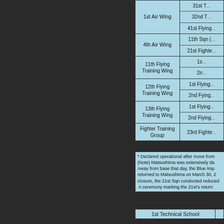| Wing/Group | Squadron/Unit |
| --- | --- |
| 1st Air Wing | 31st T... |
| 1st Air Wing | 32nd T... |
| 1st Air Wing | 41st Flying... |
| 4th Air Wing | 11th Sqn (... |
| 4th Air Wing | 21st Fighte... |
| 11th Flying Training Wing | 1s... |
| 11th Flying Training Wing | 2n... |
| 12th Flying Training Wing | 1st Flying... |
| 12th Flying Training Wing | 2nd Fying... |
| 13th Flying Training Wing | 1st Flying... |
| 13th Flying Training Wing | 2nd Flying... |
| Fighter Training Group | 23rd Fighte... |
| 1st Technical School |  |
* Declared operational after move from... (Note) Matsushima was extensively da... Away from base that day, the Blue Imp... returned to Matsushima on March 30, 2... closure, the 21st Sqn conducted reduced... A ceremony marking the 21st's return...